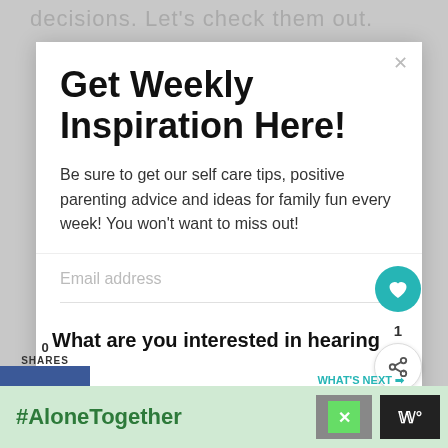decisions. Let's check them out.
Get Weekly Inspiration Here!
Be sure to get our self care tips, positive parenting advice and ideas for family fun every week! You won't want to miss out!
0
SHARES
Email address
What are you interested in hearing
WHAT'S NEXT → Purple Monster...
Self Care & Relationships
#AloneTogether